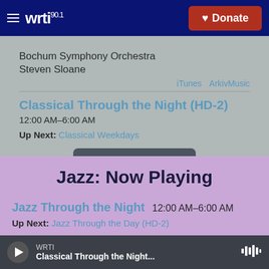WRTI 90.1 | Donate
Bochum Symphony Orchestra
Steven Sloane
iTunes  ArkivMusic
Classical Through the Night (HD-2)
12:00 AM–6:00 AM
Up Next: Classical Weekdays
View Playlist
Jazz: Now Playing
Jazz Through the Night
12:00 AM–6:00 AM
Up Next: Jazz Through the Day (HD-2)
WRTI  Classical Through the Night...